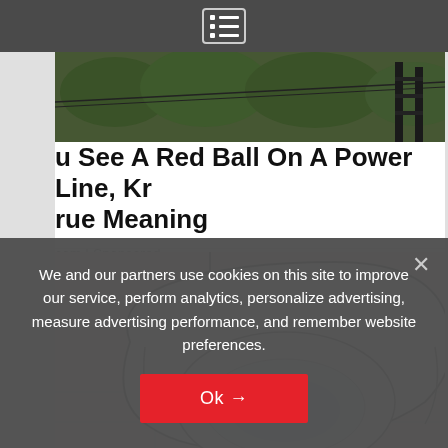Navigation menu bar
[Figure (photo): Partial image of outdoor scene with power lines and equipment, dark background with green foliage]
u See A Red Ball On A Power Line, Kr rue Meaning
com | Sponsored
[Figure (illustration): Line drawing illustration of a toilet bowl viewed from above, showing the seat and bowl with light blue water, set on a tiled floor background]
We and our partners use cookies on this site to improve our service, perform analytics, personalize advertising, measure advertising performance, and remember website preferences.
Ok →